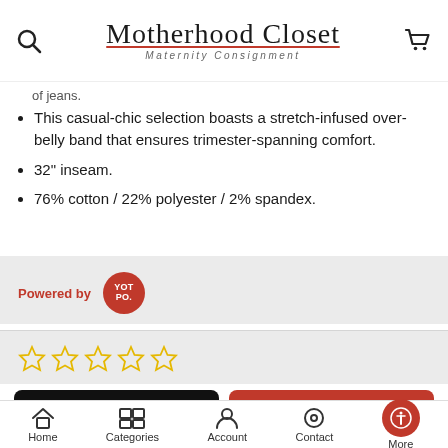Motherhood Closet — Maternity Consignment
of jeans.
This casual-chic selection boasts a stretch-infused over-belly band that ensures trimester-spanning comfort.
32" inseam.
76% cotton / 22% polyester / 2% spandex.
Powered by YOT PO.
[Figure (other): Five outlined star rating icons in gold/yellow, all empty (zero rating)]
ADD TO CART
BUY NOW
Home | Categories | Account | Contact | More